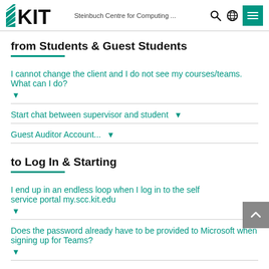KIT – Steinbuch Centre for Computing ...
from Students & Guest Students
I cannot change the client and I do not see my courses/teams. What can I do?
Start chat between supervisor and student
Guest Auditor Account...
to Log In & Starting
I end up in an endless loop when I log in to the self service portal my.scc.kit.edu
Does the password already have to be provided to Microsoft when signing up for Teams?